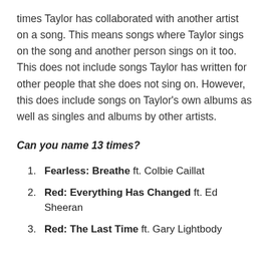times Taylor has collaborated with another artist on a song. This means songs where Taylor sings on the song and another person sings on it too. This does not include songs Taylor has written for other people that she does not sing on. However, this does include songs on Taylor's own albums as well as singles and albums by other artists.
Can you name 13 times?
1. Fearless: Breathe ft. Colbie Caillat
2. Red: Everything Has Changed ft. Ed Sheeran
3. Red: The Last Time ft. Gary Lightbody